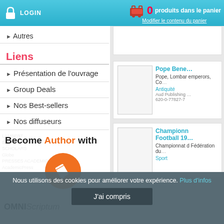LOGIN  0 produits dans le panier  Modifier le contenu du panier
▸ Autres
Liens
▸ Présentation de l'ouvrage
▸ Group Deals
▸ Nos Best-sellers
▸ Nos diffuseurs
[Figure (illustration): Become Author with OMNIScriptum banner with orange pencil circle and watermark publisher logos in background]
Pope Bene
Pope, Lombar emperors, Con
Antiquité
Aud Publishing
620-0-77827-7
Championn Football 19
championnat Fédération du
Sport
Nous utilisons des cookies pour améliorer votre expérience. Plus d'infos
J'ai compris